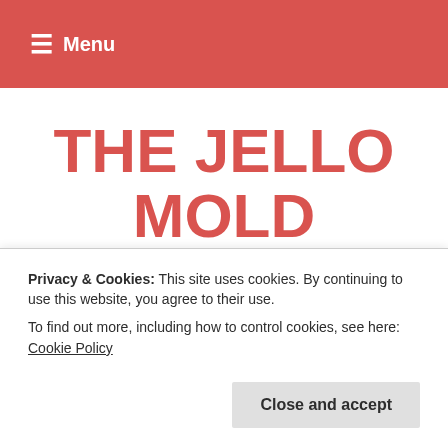≡ Menu
THE JELLO MOLD MISTRESS of Brooklyn
Carrot Cake Jello
Privacy & Cookies: This site uses cookies. By continuing to use this website, you agree to their use.
To find out more, including how to control cookies, see here: Cookie Policy
Close and accept